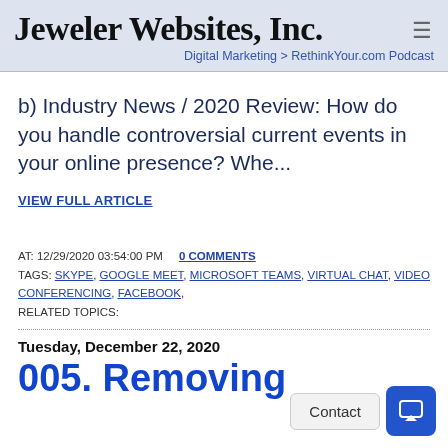Jeweler Websites, Inc.
Digital Marketing > RethinkYour.com Podcast
b) Industry News / 2020 Review: How do you handle controversial current events in your online presence? Whe...
VIEW FULL ARTICLE
AT: 12/29/2020 03:54:00 PM   0 COMMENTS
TAGS: SKYPE, GOOGLE MEET, MICROSOFT TEAMS, VIRTUAL CHAT, VIDEO CONFERENCING, FACEBOOK,
RELATED TOPICS:
Tuesday, December 22, 2020
005. Removing